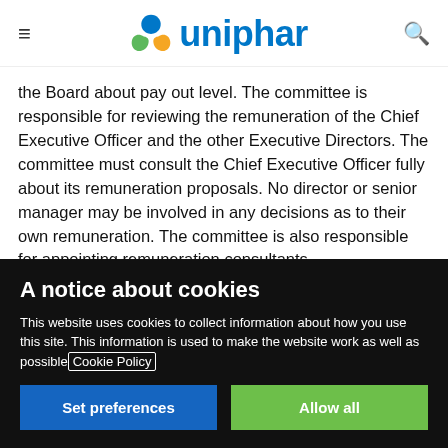[Figure (logo): Uniphar logo with triquetra-style icon in blue, green, and orange, and 'uniphar' text in blue]
the Board about pay out level. The committee is responsible for reviewing the remuneration of the Chief Executive Officer and the other Executive Directors. The committee must consult the Chief Executive Officer fully about its remuneration proposals. No director or senior manager may be involved in any decisions as to their own remuneration. The committee is also responsible for appointing remuneration consultants.
A notice about cookies
This website uses cookies to collect information about how you use this site. This information is used to make the website work as well as possible Cookie Policy
Set preferences
Allow all